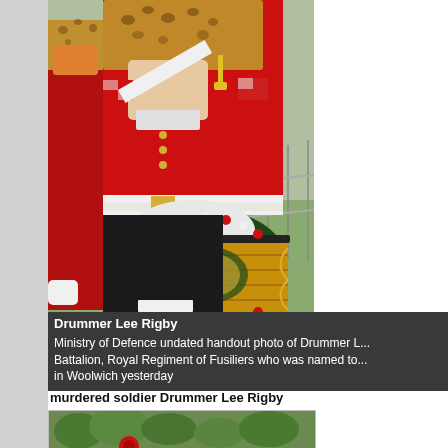[Figure (photo): A soldier in full ceremonial dress uniform — red tunic, white belt, white gloves, leopard-skin apron — holding a decorated military drum with red and white roses. Another soldier in similar uniform is partially visible to the left.]
Drummer Lee Rigby
Ministry of Defence undated handout photo of Drummer L... Battalion, Royal Regiment of Fusiliers who was named to... in Woolwich yesterday
murdered soldier Drummer Lee Rigby
[Figure (photo): Partial view of a second photo, showing green foliage and what appears to be a red flower or uniform element.]